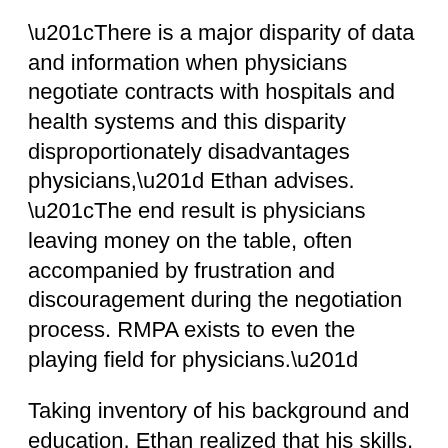“There is a major disparity of data and information when physicians negotiate contracts with hospitals and health systems and this disparity disproportionately disadvantages physicians,” Ethan advises. “The end result is physicians leaving money on the table, often accompanied by frustration and discouragement during the negotiation process. RMPA exists to even the playing field for physicians.”
Taking inventory of his background and education, Ethan realized that his skills, training, and expertise could be optimized by advocating for physicians who are negotiating contracts with hospitals and health systems. RMPA is founded on the mission of “Physicians...